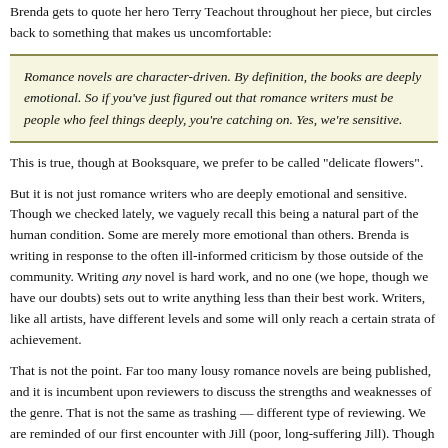Brenda gets to quote her hero Terry Teachout throughout her piece, but circles back to something that makes us uncomfortable:
Romance novels are character-driven. By definition, the books are deeply emotional. So if you've just figured out that romance writers must be people who feel things deeply, you're catching on. Yes, we're sensitive.
This is true, though at Booksquare, we prefer to be called “delicate flowers”.
But it is not just romance writers who are deeply emotional and sensitive. Though we checked lately, we vaguely recall this being a natural part of the human condition. Some are merely more emotional than others. Brenda is writing in response to the often ill-informed criticism by those outside of the community. Writing any novel is hard work, and no one (we hope, though we have our doubts) sets out to write anything less than their best work. Writers, like all artists, have different levels and some will only reach a certain strata of achievement.
That is not the point. Far too many lousy romance novels are being published, and it is incumbent upon reviewers to discuss the strengths and weaknesses of the genre. That is not the same as trashing — different type of reviewing. We are reminded of our first encounter with Jill (poor, long-suffering Jill). Though the exact words are fuzzy, we basically said, “Good work, but you started in the wrong place”. That Jill remains our friend after that says something. We are not sure what, but we will suggest that she can be emotional but serious about her work. We must stop before we say something too kind and change our mood.